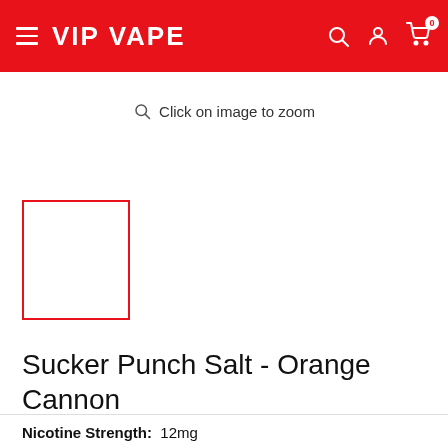VIP VAPE
[Figure (screenshot): Empty product image placeholder with red border, used as thumbnail]
Click on image to zoom
Sucker Punch Salt - Orange Cannon
Nicotine Strength: 12mg
12mg | 20mg | 20mg (Bold 35)